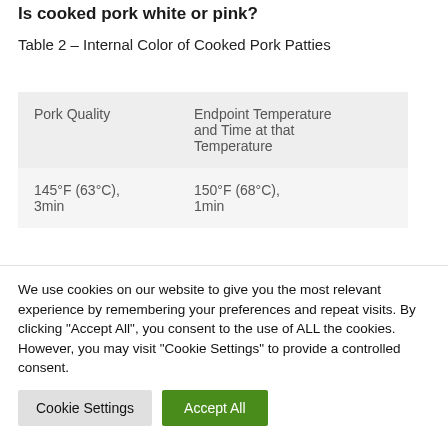Is cooked pork white or pink?
Table 2 – Internal Color of Cooked Pork Patties
| Pork Quality | Endpoint Temperature and Time at that Temperature |
| --- | --- |
| 145°F (63°C), 3min | 150°F (68°C), 1min |
We use cookies on our website to give you the most relevant experience by remembering your preferences and repeat visits. By clicking "Accept All", you consent to the use of ALL the cookies. However, you may visit "Cookie Settings" to provide a controlled consent.